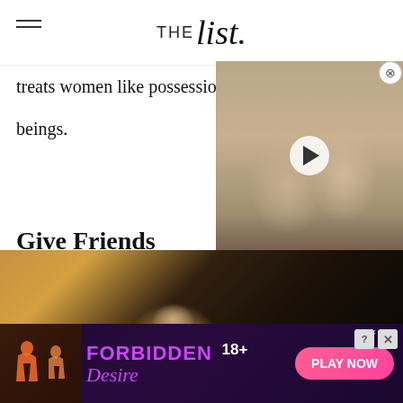THE List
treats women like possessions rather than human beings.
[Figure (photo): Video thumbnail showing Princess Diana and Prince Charles, with a white play button overlay]
Give Friends characters another chance
[Figure (photo): A man with white/grey short hair wearing a black and orange Adidas tracksuit top, looking downward with a serious expression, in what appears to be a bar setting]
[Figure (other): Advertisement banner for 'Forbidden Desire' adult game with '18+' label and 'PLAY NOW' button, featuring silhouette graphics on dark purple background]